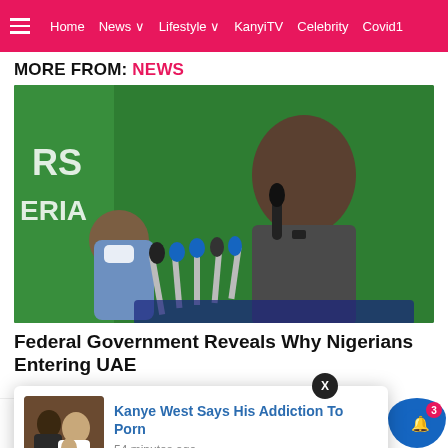≡  Home  News ∨  Lifestyle ∨  KanyiTV  Celebrity  Covid1
MORE FROM: NEWS
[Figure (photo): A man in a dark outfit speaking at a press conference with multiple microphones. Another person wearing a mask sits to the left. Green backdrop with partial text 'RS ERIA' visible.]
Federal Government Reveals Why Nigerians Entering UAE
[Figure (photo): Popup notification showing Kanye West with family photo. Title: 'Kanye West Says His Addiction To Porn', timestamp: 54 minutes ago. Close button marked X.]